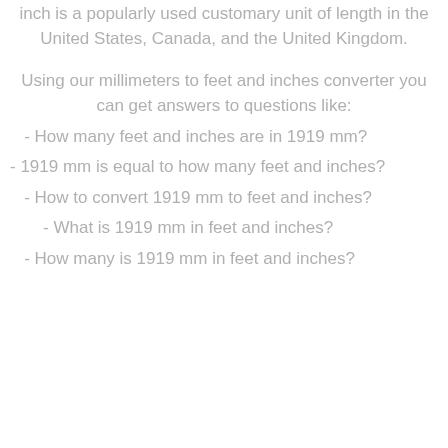inch is a popularly used customary unit of length in the United States, Canada, and the United Kingdom.
Using our millimeters to feet and inches converter you can get answers to questions like:
- How many feet and inches are in 1919 mm?
- 1919 mm is equal to how many feet and inches?
- How to convert 1919 mm to feet and inches?
- What is 1919 mm in feet and inches?
- How many is 1919 mm in feet and inches?